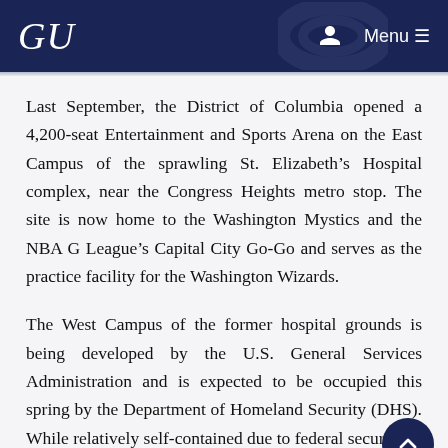GU  Menu
Last September, the District of Columbia opened a 4,200-seat Entertainment and Sports Arena on the East Campus of the sprawling St. Elizabeth’s Hospital complex, near the Congress Heights metro stop. The site is now home to the Washington Mystics and the NBA G League’s Capital City Go-Go and serves as the practice facility for the Washington Wizards.
The West Campus of the former hospital grounds is being developed by the U.S. General Services Administration and is expected to be occupied this spring by the Department of Homeland Security (DHS). While relatively self-contained due to federal security requirements, DHS will bring on campus a large number of